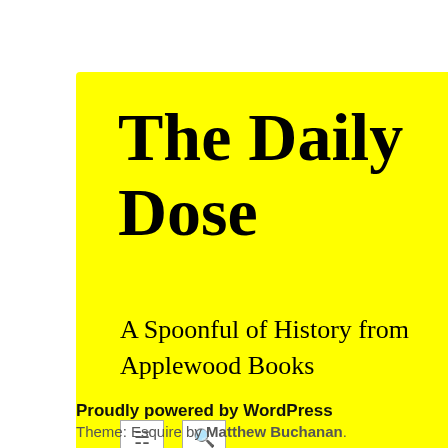The Daily Dose
A Spoonful of History from Applewood Books
[Figure (screenshot): Two RSS and search icon boxes in a row]
[Figure (other): Black horizontal bar/button]
JUL
Trea
[Figure (illustration): Orange circle with italic letter I]
was to dete to maintain
[Figure (illustration): Historical illustration showing a partial figure on a tan/peach background]
Proudly powered by WordPress Theme: Esquire by Matthew Buchanan.